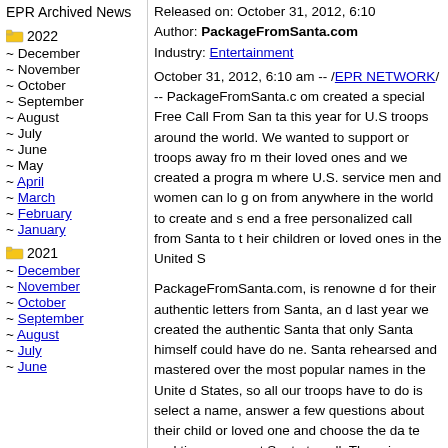EPR Archived News
Released on: October 31, 2012, 6:10
Author: PackageFromSanta.com
Industry: Entertainment
2022
~ December
~ November
~ October
~ September
~ August
~ July
~ June
~ May
~ April
~ March
~ February
~ January
2021
~ December
~ November
~ October
~ September
~ August
~ July
~ June
October 31, 2012, 6:10 am -- /EPR NETWORK/ -- PackageFromSanta.com created a special Free Call From Santa this year for U.S troops around the world. We wanted to support or troops away from their loved ones and we created a program where U.S. service men and women can log on from anywhere in the world to create and send a free personalized call from Santa to their children or loved ones in the United S
PackageFromSanta.com, is renowned for their authentic letters from Santa, and last year we created the authentic Santa Phone Call that only Santa himself could have done. Santa rehearsed and mastered over 250 of the most popular names in the United States, so all our troops have to do is select a name, answer a few questions about their child or loved one and choose the date and time you want Santa to call. There is absolutely no purchase required. List